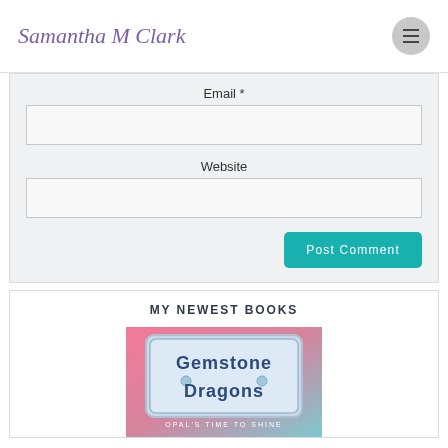Samantha M Clark
Email *
Website
Post Comment
MY NEWEST BOOKS
[Figure (illustration): Book cover for Gemstone Dragons: Opal's Time to Shine with pink and teal gradient background and illustrated gemstone dragon characters]